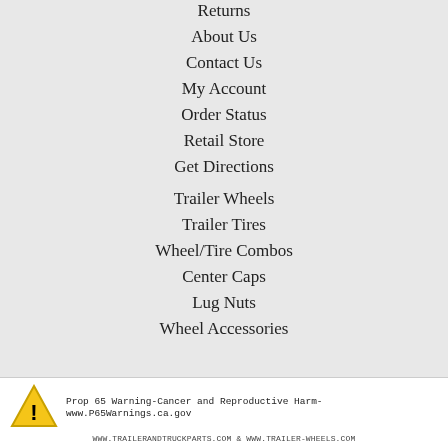Returns
About Us
Contact Us
My Account
Order Status
Retail Store
Get Directions
Trailer Wheels
Trailer Tires
Wheel/Tire Combos
Center Caps
Lug Nuts
Wheel Accessories
Prop 65 Warning-Cancer and Reproductive Harm-www.P65Warnings.ca.gov
WWW.TRAILERANDTRUCKPARTS.COM & WWW.TRAILER-WHEELS.COM